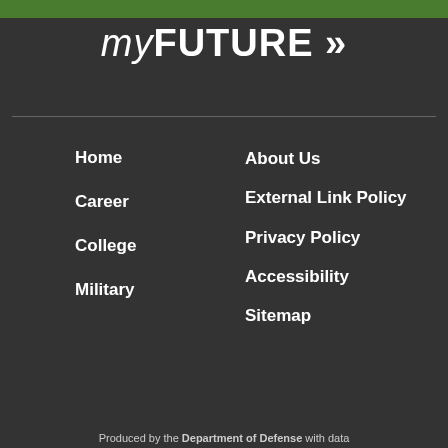myFUTURE »
Home
Career
College
Military
About Us
External Link Policy
Privacy Policy
Accessibility
Sitemap
Produced by the Department of Defense with data